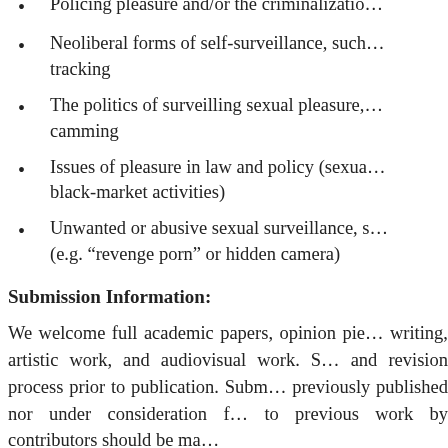Policing pleasure and/or the criminalizatio…
Neoliberal forms of self-surveillance, such… tracking
The politics of surveilling sexual pleasure,… camming
Issues of pleasure in law and policy (sexua… black-market activities)
Unwanted or abusive sexual surveillance, s… (e.g. “revenge porn” or hidden camera)
Submission Information:
We welcome full academic papers, opinion pie… writing, artistic work, and audiovisual work. S… and revision process prior to publication. Subm… previously published nor under consideration f… to previous work by contributors should be ma…
All papers must be submitted through the onli…